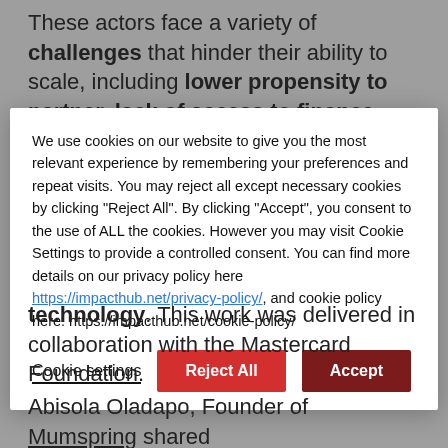These actors face a variety of challenges that hinder their ability to scale, including lower propensity to partner, lack of access to finance, and inefficient business models. Such
We use cookies on our website to give you the most relevant experience by remembering your preferences and repeat visits. You may reject all except necessary cookies by clicking "Reject All". By clicking "Accept", you consent to the use of ALL the cookies. However you may visit Cookie Settings to provide a controlled consent. You can find more details on our privacy policy here https://impacthub.net/privacy-policy/, and cookie policy here: https://impacthub.net/cookie-policy/
technology. This work was delivered in collaboration with the Mastercard Foundation.
Abisola Oladapo, Founder of Mumspring shared